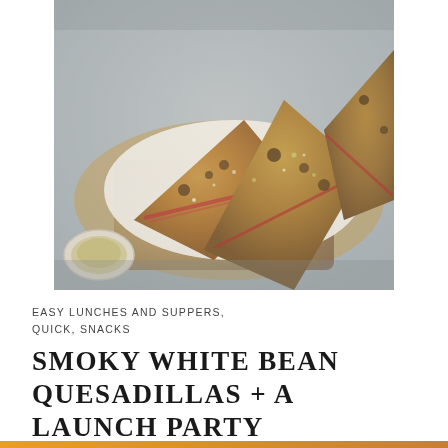[Figure (photo): Overhead photo of smoky white bean quesadilla slices cut into triangles, golden brown and crispy, arranged on a wooden cutting board with parchment paper, with a small bowl of sauce partially visible at lower left, on a blue-grey surface.]
EASY LUNCHES AND SUPPERS, QUICK, SNACKS
SMOKY WHITE BEAN QUESADILLAS + A LAUNCH PARTY